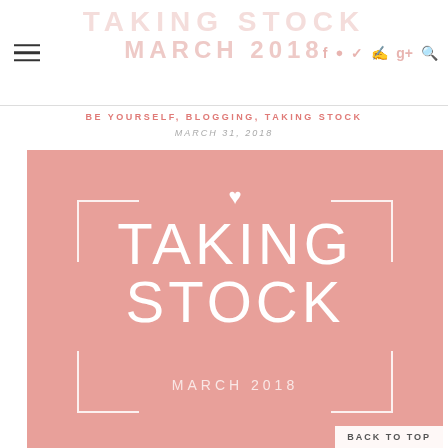TAKING STOCK MARCH 2018
BE YOURSELF, BLOGGING, TAKING STOCK
MARCH 31, 2018
[Figure (illustration): Pink/rose colored promotional graphic for 'Taking Stock March 2018' blog post. Features large white text 'TAKING STOCK' with a white heart icon above it inside a decorative frame with corner brackets, and 'MARCH 2018' in smaller text below. Background is a salmon/dusty rose color. A 'BACK TO TOP' button appears in the bottom right corner.]